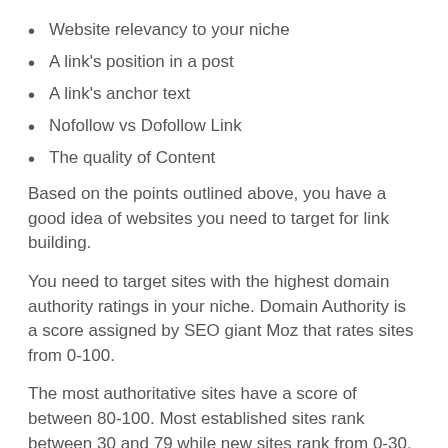Website relevancy to your niche
A link's position in a post
A link's anchor text
Nofollow vs Dofollow Link
The quality of Content
Based on the points outlined above, you have a good idea of websites you need to target for link building.
You need to target sites with the highest domain authority ratings in your niche. Domain Authority is a score assigned by SEO giant Moz that rates sites from 0-100.
The most authoritative sites have a score of between 80-100. Most established sites rank between 30 and 79 while new sites rank from 0-30. Acquiring links on sites with a DA score of 80+ is difficult. But if successful, it can boost your site’s ranking